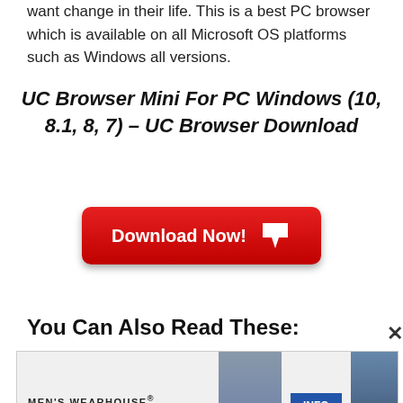want change in their life. This is a best PC browser which is available on all Microsoft OS platforms such as Windows all versions.
UC Browser Mini For PC Windows (10, 8.1, 8, 7) – UC Browser Download
[Figure (other): Red Download Now button with a white downward arrow icon]
You Can Also Read These:
[Figure (other): Men's Wearhouse advertisement banner with models in suits and an INFO button]